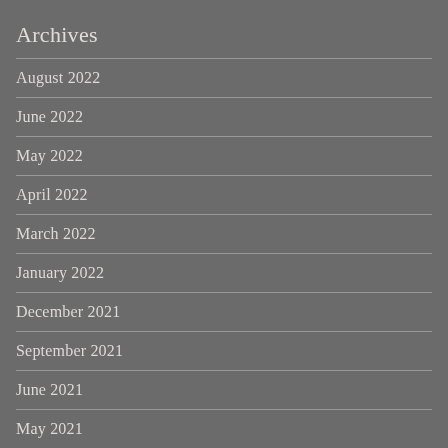Archives
August 2022
June 2022
May 2022
April 2022
March 2022
January 2022
December 2021
September 2021
June 2021
May 2021
April 2021